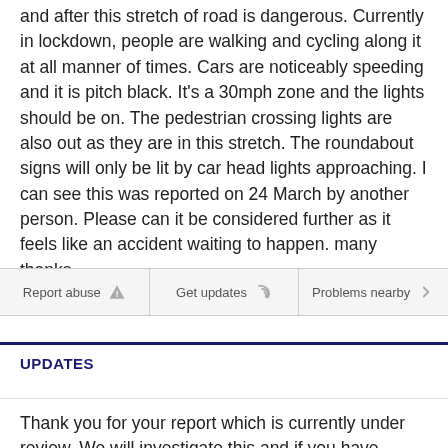you enter Stone Village. Street lights are all out. At dusk and after this stretch of road is dangerous. Currently in lockdown, people are walking and cycling along it at all manner of times. Cars are noticeably speeding and it is pitch black. It's a 30mph zone and the lights should be on. The pedestrian crossing lights are also out as they are in this stretch. The roundabout signs will only be lit by car head lights approaching. I can see this was reported on 24 March by another person. Please can it be considered further as it feels like an accident waiting to happen. many thanks.
Report abuse
Get updates
Problems nearby
UPDATES
Thank you for your report which is currently under review. We will investigate this and if you have provided an email